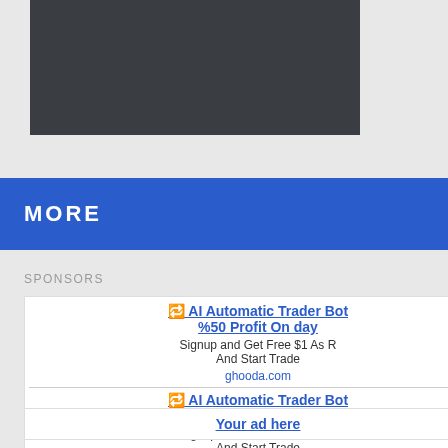[Figure (screenshot): Dark banner/header element at the top of the page, dark charcoal/slate color]
MORE
SPONSORS
🔁 AI Automatic Trader Bot %50 Profit On day
Signup and Get Free $1 As R And Start Trade
ghooda.com
🔁 AI Automatic Trader Bot %50 Profit On day
Signup and Get Free $1 As R And Start Trade
ghooda.com
[Figure (screenshot): BC.GAME crypto casino advertisement banner with FREE SPIN, CRYPTO CASINO, 20+ TOKENS text, WIN 5 BTC badge and PLAY NOW button on dark red background]
Your ad here